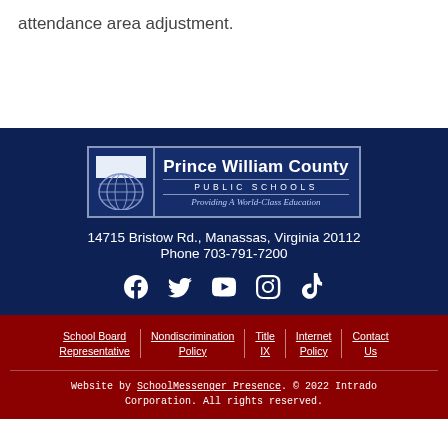attendance area adjustment.
[Figure (logo): Prince William County Public Schools logo — globe icon with text 'Prince William County PUBLIC SCHOOLS — Providing A World-Class Education']
14715 Bristow Rd., Manassas, Virginia 20112
Phone 703-791-7200
[Figure (illustration): Social media icons: Facebook, Twitter, YouTube, Instagram, TikTok]
School Board Representative
Nondiscrimination Policy
Title IX
Internet Policy
Contact Us
Website by SchoolMessenger Presence. © 2022 Intrado Corporation. All rights reserved.